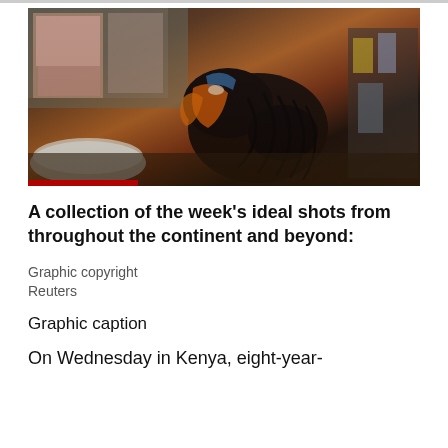[Figure (photo): A person braiding hair in what appears to be an outdoor salon setting in Kenya. The subject is bent over, working on another person's hair extensions. Colorful posters are visible on a wall in the background.]
A collection of the week's ideal shots from throughout the continent and beyond:
Graphic copyright
Reuters
Graphic caption
On Wednesday in Kenya, eight-year-old I...